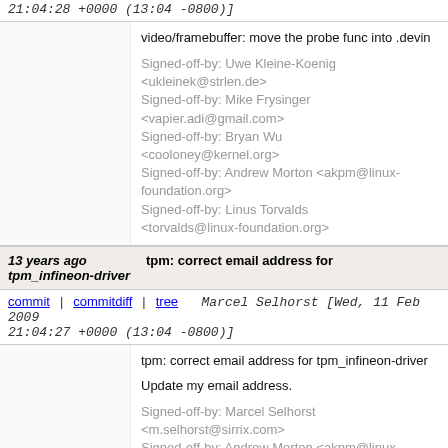21:04:28 +0000 (13:04 -0800)]
video/framebuffer: move the probe func into .devin

Signed-off-by: Uwe Kleine-Koenig <ukleinek@strlen.de>
Signed-off-by: Mike Frysinger <vapier.adi@gmail.com>
Signed-off-by: Bryan Wu <cooloney@kernel.org>
Signed-off-by: Andrew Morton <akpm@linux-foundation.org>
Signed-off-by: Linus Torvalds <torvalds@linux-foundation.org>
13 years ago tpm_infineon-driver
tpm: correct email address for
commit | commitdiff | tree   Marcel Selhorst [Wed, 11 Feb 2009 21:04:27 +0000 (13:04 -0800)]
tpm: correct email address for tpm_infineon-driver

Update my email address.

Signed-off-by: Marcel Selhorst <m.selhorst@sirrix.com>
Signed-off-by: Andrew Morton <akpm@linux-foundation.org>
Signed-off-by: Linus Torvalds